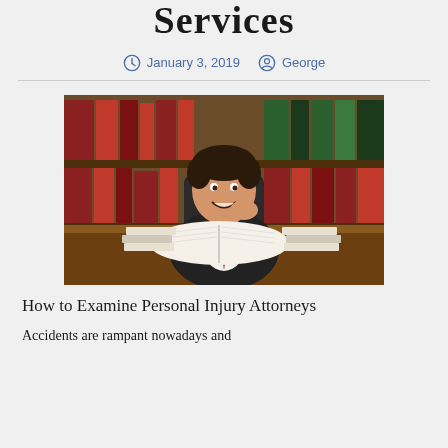Services
January 3, 2019   George
[Figure (photo): A smiling male attorney in a dark suit with red tie, sitting at a desk with an open book, surrounded by law books on shelves in the background.]
How to Examine Personal Injury Attorneys
Accidents are rampant nowadays and